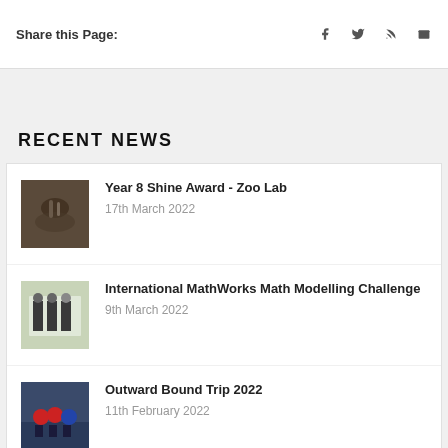Share this Page:
RECENT NEWS
Year 8 Shine Award - Zoo Lab
17th March 2022
International MathWorks Math Modelling Challenge
9th March 2022
Outward Bound Trip 2022
11th February 2022